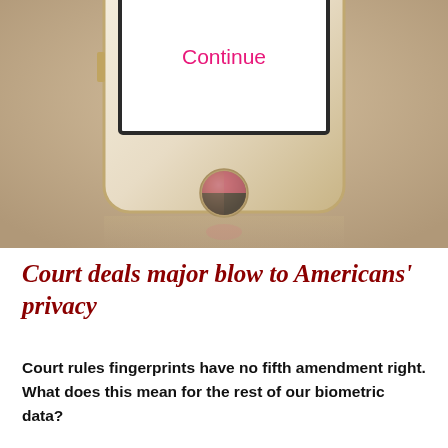[Figure (photo): Gold/white iPhone with fingerprint sensor home button showing a screen with 'Continue' text in pink. The phone is photographed from a front-low angle with a reflection visible below, on a tan/khaki background.]
Court deals major blow to Americans' privacy
Court rules fingerprints have no fifth amendment right. What does this mean for the rest of our biometric data?